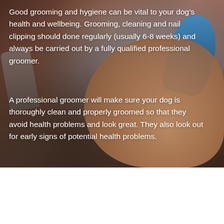[Figure (photo): Background photo of a professional dog groomer's hands holding a blue grooming tool/dryer, working on a dog. The image is partially dark with warm skin tones and a blue grooming device visible at the upper right.]
Good grooming and hygiene can be vital to your dog's health and wellbeing. Grooming, cleaning and nail clipping should done regularly (usually 6-8 weeks) and always be carried out by a fully qualified professional groomer.
A professional groomer will make sure your dog is thoroughly clean and properly groomed so that they avoid health problems and look great. They also look out for early signs of potential health problems.